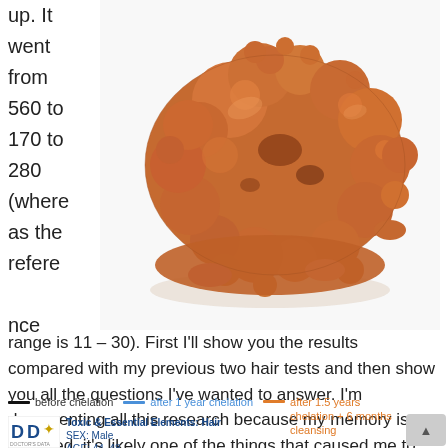up. It went from 560 to 170 to 280 (where as the reference nce
[Figure (photo): Close-up photo of a copper mineral nugget/specimen with a rough, lumpy surface and metallic copper-orange color on a white background.]
range is 11 – 30). First I'll show you the results compared with my previous two hair tests and then show you all the questions I've wanted to answer. I'm documenting all this research because my memory is so impaired, it's likely one of the things that caused me to drop the ball on lowering my copper!
before chelation | after 1 year chelation | after 1.5 years chelation + 6 months cleansing
[Figure (table-as-image): Hair test report header showing 'Toxic & Essential Elements: Hair' with a laboratory logo (DD), SEX: Male, AGE: 44-48 fields, and column headers partially visible.]